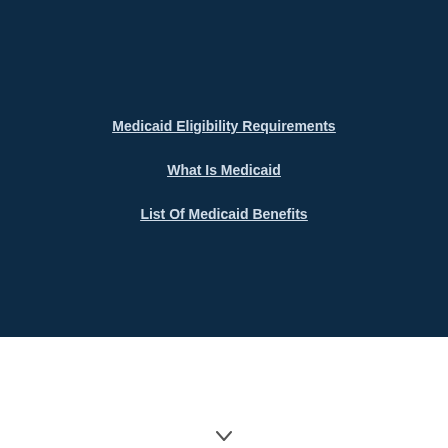Medicaid Eligibility Requirements
What Is Medicaid
List Of Medicaid Benefits